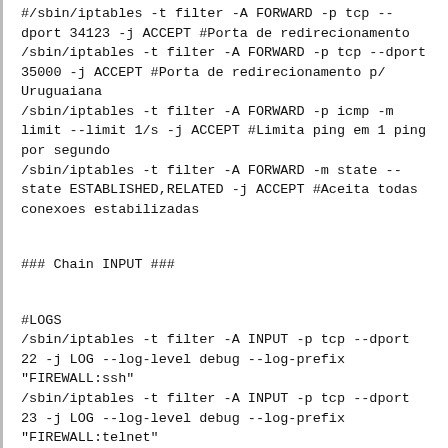#/sbin/iptables -t filter -A FORWARD -p tcp --dport 34123 -j ACCEPT #Porta de redirecionamento
/sbin/iptables -t filter -A FORWARD -p tcp --dport 35000 -j ACCEPT #Porta de redirecionamento p/ Uruguaiana
/sbin/iptables -t filter -A FORWARD -p icmp -m limit --limit 1/s -j ACCEPT #Limita ping em 1 ping por segundo
/sbin/iptables -t filter -A FORWARD -m state --state ESTABLISHED,RELATED -j ACCEPT #Aceita todas conexoes estabilizadas
### Chain INPUT ###
#LOGS
/sbin/iptables -t filter -A INPUT -p tcp --dport 22 -j LOG --log-level debug --log-prefix "FIREWALL:ssh"
/sbin/iptables -t filter -A INPUT -p tcp --dport 23 -j LOG --log-level debug --log-prefix "FIREWALL:telnet"
#ACESSOS
/sbin/iptables -t filter -A INPUT -i lo -j ACCEPT
/sbin/iptables -t filter -A INPUT -p tcp --dport 22 -j